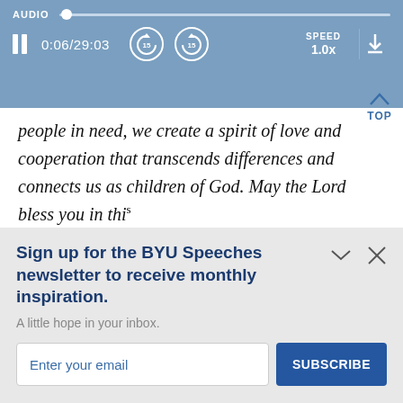[Figure (screenshot): Audio player bar showing play controls: AUDIO label with slider, pause button, time 0:06/29:03, skip-back 15s, skip-forward 15s buttons, SPEED 1.0x, and download icon]
people in need, we create a spirit of love and cooperation that transcends differences and connects us as children of God. May the Lord bless you in this effort to give selfless service as your time and circumstances permit. 24
Sign up for the BYU Speeches newsletter to receive monthly inspiration.
A little hope in your inbox.
Enter your email
SUBSCRIBE